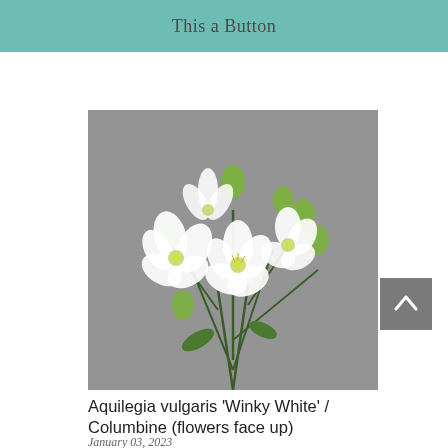This a Button
[Figure (photo): Photograph of Aquilegia vulgaris 'Winky White' / Columbine flowers with white petals and green buds against a grey background]
Aquilegia vulgaris 'Winky White' / Columbine (flowers face up)
January 03, 2023